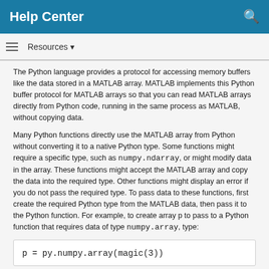Help Center
Resources ▼
The Python language provides a protocol for accessing memory buffers like the data stored in a MATLAB array. MATLAB implements this Python buffer protocol for MATLAB arrays so that you can read MATLAB arrays directly from Python code, running in the same process as MATLAB, without copying data.
Many Python functions directly use the MATLAB array from Python without converting it to a native Python type. Some functions might require a specific type, such as numpy.ndarray, or might modify data in the array. These functions might accept the MATLAB array and copy the data into the required type. Other functions might display an error if you do not pass the required type. To pass data to these functions, first create the required Python type from the MATLAB data, then pass it to the Python function. For example, to create array p to pass to a Python function that requires data of type numpy.array, type: